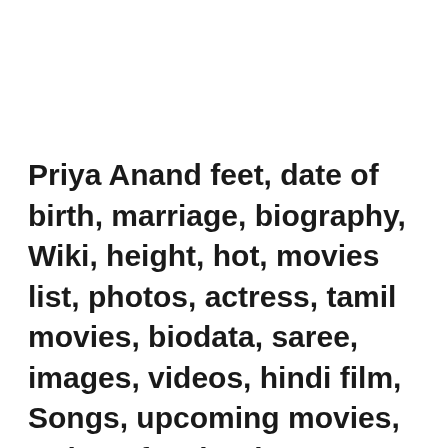Priya Anand feet, date of birth, marriage, biography, Wiki, height, hot, movies list, photos, actress, tamil movies, biodata, saree, images, videos, hindi film, Songs, upcoming movies, Twitter, facebook, instagram